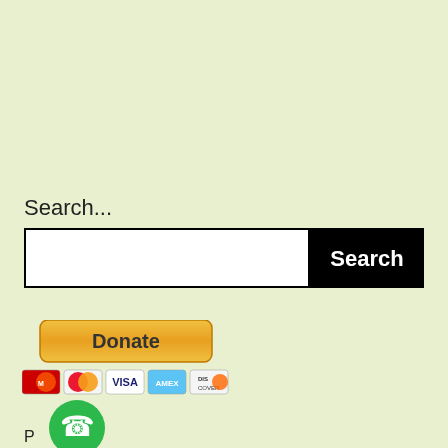Search...
[Figure (screenshot): Search input box with white text field on left and black Search button on right]
[Figure (screenshot): Donate button (orange/yellow gradient) with payment method icons (Maestro, MasterCard, Visa, AmericanExpress, Discover, Bank) and a green phone icon circle below]
P